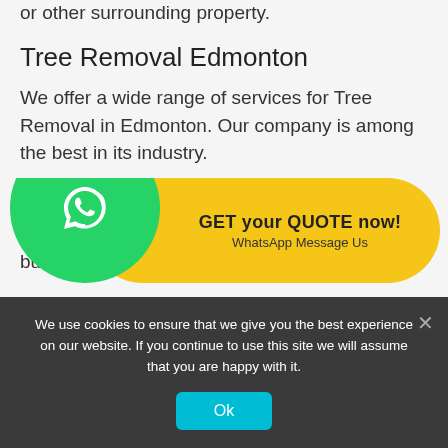or other surrounding property.
Tree Removal Edmonton
We offer a wide range of services for Tree Removal in Edmonton. Our company is among the best in its industry.
Tree Removal Newcastle
We are a licensed and insured Tree Removal business in Newcastle. We specialize in helping ...
[Figure (infographic): WhatsApp CTA button with green phone circle icon and yellow bubble saying GET your QUOTE now! and WhatsApp Message Us]
We use cookies to ensure that we give you the best experience on our website. If you continue to use this site we will assume that you are happy with it.
Ok